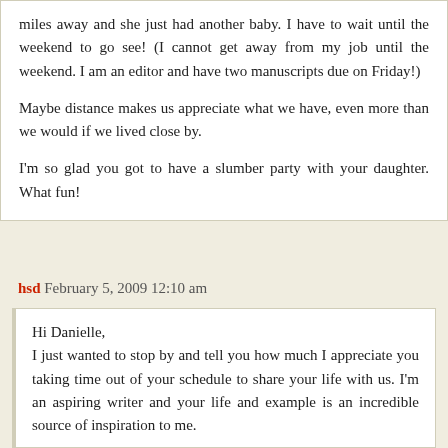miles away and she just had another baby. I have to wait until the weekend to go see! (I cannot get away from my job until the weekend. I am an editor and have two manuscripts due on Friday!)
Maybe distance makes us appreciate what we have, even more than we would if we lived close by.
I'm so glad you got to have a slumber party with your daughter. What fun!
hsd February 5, 2009 12:10 am
Hi Danielle,
I just wanted to stop by and tell you how much I appreciate you taking time out of your schedule to share your life with us. I'm an aspiring writer and your life and example is an incredible source of inspiration to me.
I did want to ask you one question- if it's not too much trouble. Could you perhaps give a